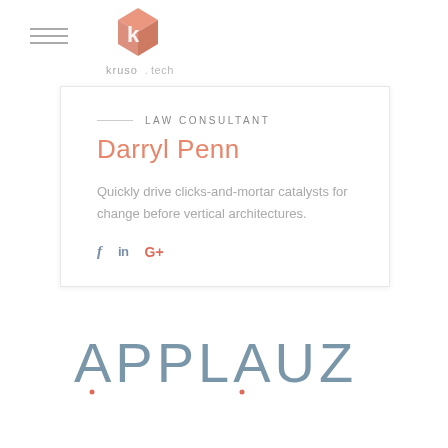[Figure (logo): Kruso.tech logo with orange geometric K hexagon shape and text 'kruso.tech']
LAW CONSULTANT
Darryl Penn
Quickly drive clicks-and-mortar catalysts for change before vertical architectures.
f  in  G+
[Figure (logo): APPLAUZ logo in large grey-blue uppercase letters with two red dot accents underneath certain letters]